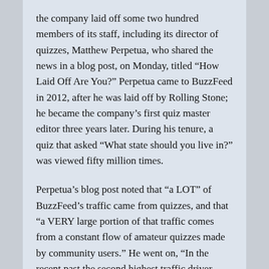the company laid off some two hundred members of its staff, including its director of quizzes, Matthew Perpetua, who shared the news in a blog post, on Monday, titled “How Laid Off Are You?” Perpetua came to BuzzFeed in 2012, after he was laid off by Rolling Stone; he became the company’s first quiz master editor three years later. During his tenure, a quiz that asked “What state should you live in?” was viewed fifty million times.
Perpetua’s blog post noted that “a LOT” of BuzzFeed’s traffic came from quizzes, and that “a VERY large portion of that traffic comes from a constant flow of amateur quizzes made by community users.” He went on, “In the recent past the second highest traffic driver worldwide has been a community user in Michigan who is a teenager in college who, for some reason,